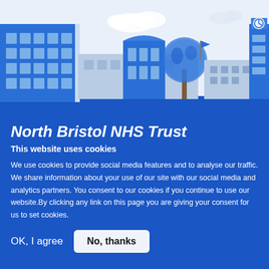[Figure (illustration): Illustrated skyline of North Bristol NHS Trust hospital buildings in blue tones, featuring a modern hospital building on the left, a central building with large windows, a tree, and a clock tower on the right, against a light blue-white background with clouds.]
North Bristol NHS Trust
This website uses cookies
We use cookies to provide social media features and to analyse our traffic. We share information about your use of our site with our social media and analytics partners. You consent to our cookies if you continue to use our website.By clicking any link on this page you are giving your consent for us to set cookies.
OK, I agree
No, thanks